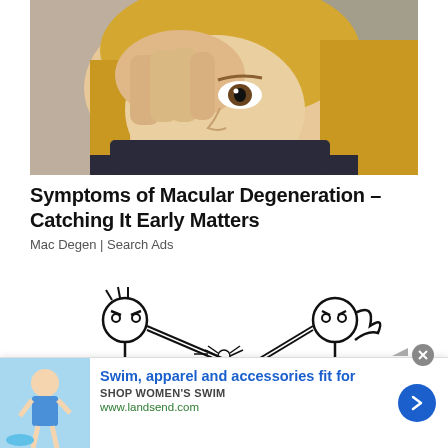[Figure (photo): Close-up photo of a young blonde woman touching/rubbing her eye with her hand, wearing a dark top, with a blurred outdoor background]
Symptoms of Macular Degeneration – Catching It Early Matters
Mac Degen | Search Ads
[Figure (illustration): Stick figure cartoon showing two stick figures facing each other, with a small insect/bug flying between them at nose level]
[Figure (photo): Advertisement banner: photo of a woman in swimwear on left, with text 'Swim, apparel and accessories fit for' and 'SHOP WOMEN'S SWIM' and 'www.landsend.com']